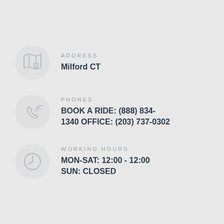ADDRESS
Milford CT
PHONES
BOOK A RIDE: (888) 834-1340 OFFICE: (203) 737-0302
WORKING HOURS
MON-SAT: 12:00 - 12:00
SUN: CLOSED